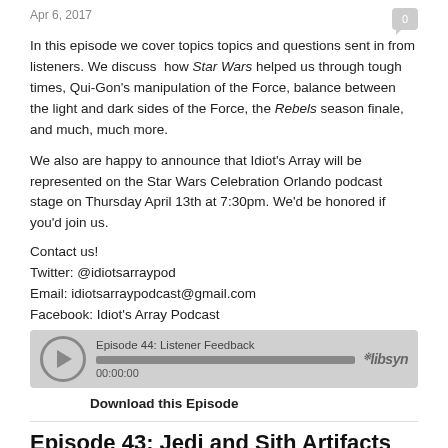Apr 6, 2017
In this episode we cover topics topics and questions sent in from listeners. We discuss  how Star Wars helped us through tough times, Qui-Gon’s manipulation of the Force, balance between the light and dark sides of the Force, the Rebels season finale, and much, much more.
We also are happy to announce that Idiot’s Array will be represented on the Star Wars Celebration Orlando podcast stage on Thursday April 13th at 7:30pm. We’d be honored if you’d join us.
Contact us!
Twitter: @idiotsarraypod
Email: idiotsarraypodcast@gmail.com
Facebook: Idiot’s Array Podcast
[Figure (other): Audio player widget showing Episode 44: Listener Feedback with play button, progress bar at 00:00:00, and libsyn logo]
Download this Episode
Episode 43: Jedi and Sith Artifacts